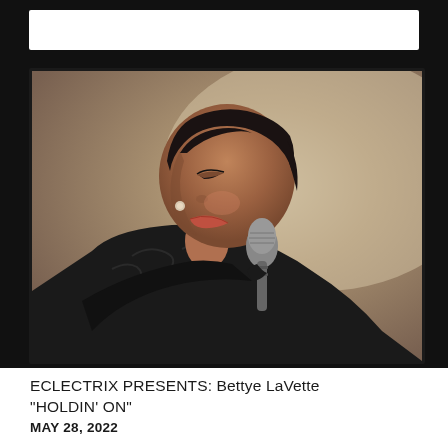[Figure (photo): A woman singing into a microphone, wearing a black fur coat and black hair, photographed in profile/three-quarter view against a neutral background. The image appears to be a video screenshot or concert photo of Bettye LaVette.]
ECLECTRIX PRESENTS: Bettye LaVette "HOLDIN' ON"
MAY 28, 2022